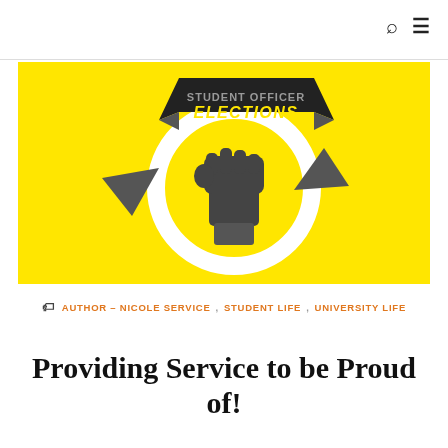[Figure (logo): Student Officer Elections logo on yellow background: circular arrow motif with raised fist in center, banner reading STUDENT OFFICER ELECTIONS]
AUTHOR - NICOLE SERVICE, STUDENT LIFE, UNIVERSITY LIFE
Providing Service to be Proud of!